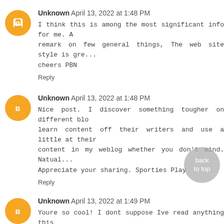Unknown April 13, 2022 at 1:48 PM
I think this is among the most significant info for me. And i am glad reading your article. But should remark on few general things, The web site style is great,
cheers PBN
Reply
Unknown April 13, 2022 at 1:48 PM
Nice post. I discover something tougher on different blogs everyday. It will always be stimulating to read content off their writers and use a little at their blogs. I'd prefer to use some with the content in my weblog whether you don't mind. Natually I'll give you a link on your web blog. Appreciate your sharing. Sporties Play
Reply
Unknown April 13, 2022 at 1:49 PM
Youre so cool! I dont suppose Ive read anything this way before. So nice to find somebody with some original applying for grants this subject. realy thank you for beginning this up. this website is one thing that is required on the internet, someone after a little originality.
Reply